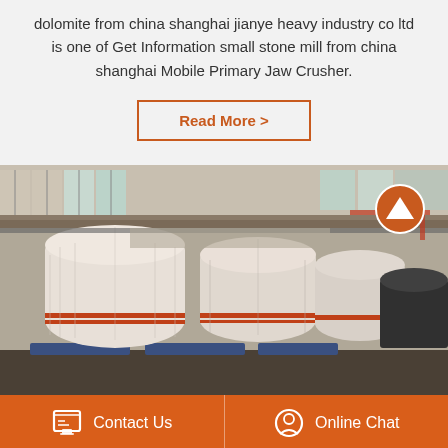dolomite from china shanghai jianye heavy industry co ltd is one of Get Information small stone mill from china shanghai Mobile Primary Jaw Crusher.
Read More >
[Figure (photo): Factory interior showing large industrial milling machines wrapped in white protective material, lined up in a row inside a warehouse with windows and overhead structure visible.]
Contact Us
Online Chat